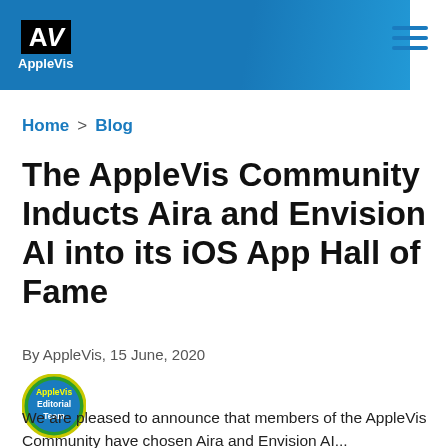AppleVis
Home > Blog
The AppleVis Community Inducts Aira and Envision AI into its iOS App Hall of Fame
By AppleVis, 15 June, 2020
[Figure (illustration): AppleVis Editorial Team circular badge/avatar in blue and yellow]
We are pleased to announce that members of the AppleVis Community have chosen Aira and Envision AI...